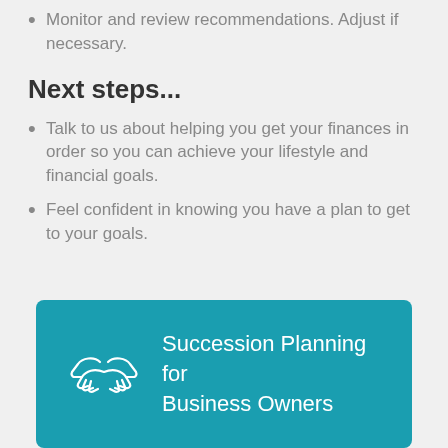Monitor and review recommendations. Adjust if necessary.
Next steps...
Talk to us about helping you get your finances in order so you can achieve your lifestyle and financial goals.
Feel confident in knowing you have a plan to get to your goals.
[Figure (illustration): Teal banner with handshake icon and text 'Succession Planning for Business Owners']